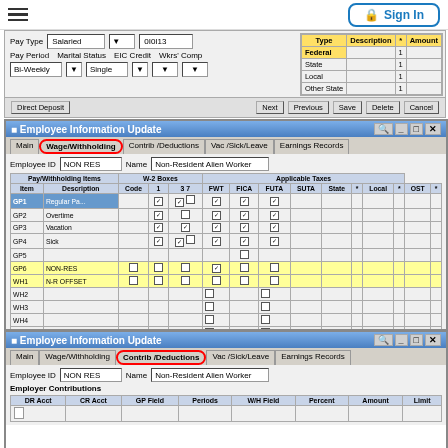[Figure (screenshot): Top navigation bar with hamburger menu icon and Sign In button]
[Figure (screenshot): Payroll form section showing Pay Type: Salaried, Pay Period: Bi-Weekly, Marital Status: Single, EIC Credit, Wkrs Comp fields, and a tax table with Federal, State, Local, Other State rows]
[Figure (screenshot): Employee Information Update dialog - Wage/Withholding tab (circled in red). Shows Employee ID: NON RES, Name: Non-Resident Alien Worker. Table with Pay/Withholding Items columns: Item, Description, W-2 Boxes (Code, 1, 3, 7), Applicable Taxes (FWT, FICA, FUTA, SUTA, State, *, Local, *, OST, *). Rows: GP1 Regular Pay (highlighted blue), GP2 Overtime, GP3 Vacation, GP4 Sick, GP5, GP6 NON-RES (yellow), WH1 N-R OFFSET (yellow), WH2-WH7 (empty). Checkboxes for various tax items. Delete Line, Next, Previous, Save, Delete, Cancel buttons.]
[Figure (screenshot): Second Employee Information Update dialog - Contrib/Deductions tab (circled in red). Shows Employee ID: NON RES, Name: Non-Resident Alien Worker. Employer Contributions section with columns: DR Acct, CR Acct, GP Field, Periods, W/H Field, Percent, Amount, Limit.]